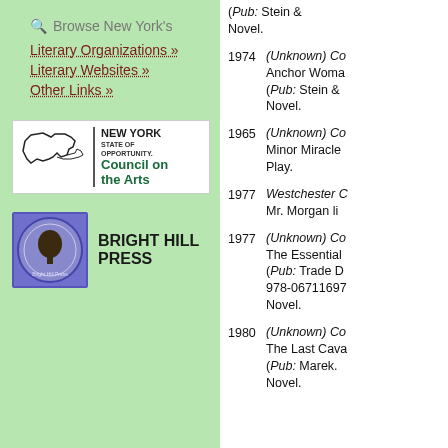Browse New York's
Literary Organizations »
Literary Websites »
Other Links »
[Figure (logo): New York State of Opportunity Council on the Arts logo]
[Figure (logo): Bright Hill Press logo with circular emblem and bold text]
(Pub: Stein & Novel.
1974 (Unknown) Co Anchor Woma (Pub: Stein & Novel.
1965 (Unknown) Co Minor Miracle Play.
1977 Westchester C Mr. Morgan li
1977 (Unknown) Co The Essential (Pub: Trade D 978-06711697 Novel.
1980 (Unknown) Co The Last Cava (Pub: Marek. Novel.